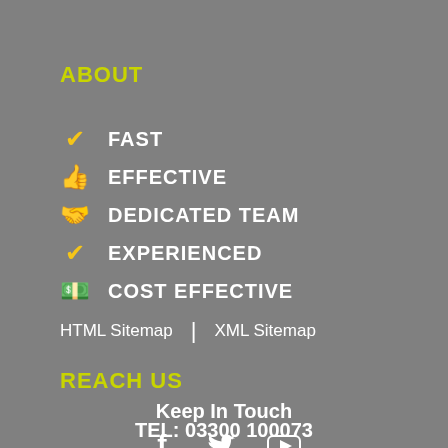ABOUT
✔ FAST
👍 EFFECTIVE
🤝 DEDICATED TEAM
✔ EXPERIENCED
💰 COST EFFECTIVE
HTML Sitemap | XML Sitemap
REACH US
Keep In Touch
TEL: 03300 100073
[Figure (infographic): Social media icons: Facebook, Twitter, YouTube]